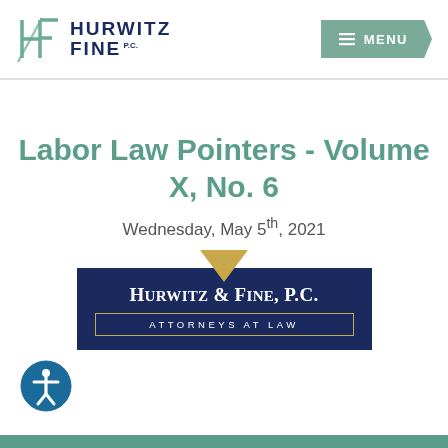[Figure (logo): Hurwitz Fine P.C. law firm logo with stylized HF monogram in teal and firm name in dark navy]
[Figure (logo): Menu button in teal/sage green with hamburger icon and MENU text]
Labor Law Pointers - Volume X, No. 6
Wednesday, May 5th, 2021
[Figure (logo): Hurwitz & Fine, P.C. Attorneys at Law badge logo on dark navy background with gold diamond accent]
[Figure (logo): Accessibility icon - person in circle]